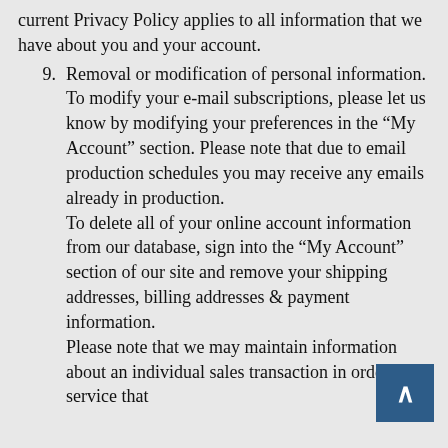current Privacy Policy applies to all information that we have about you and your account.
9. Removal or modification of personal information.
To modify your e-mail subscriptions, please let us know by modifying your preferences in the “My Account” section. Please note that due to email production schedules you may receive any emails already in production.
To delete all of your online account information from our database, sign into the “My Account” section of our site and remove your shipping addresses, billing addresses & payment information.
Please note that we may maintain information about an individual sales transaction in order to service that